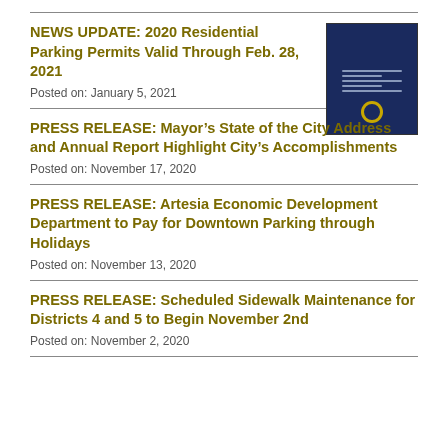NEWS UPDATE: 2020 Residential Parking Permits Valid Through Feb. 28, 2021
Posted on: January 5, 2021
[Figure (illustration): Thumbnail image of a dark navy blue document cover with text and a circular seal/logo at the bottom]
PRESS RELEASE: Mayor’s State of the City Address and Annual Report Highlight City’s Accomplishments
Posted on: November 17, 2020
PRESS RELEASE: Artesia Economic Development Department to Pay for Downtown Parking through Holidays
Posted on: November 13, 2020
PRESS RELEASE: Scheduled Sidewalk Maintenance for Districts 4 and 5 to Begin November 2nd
Posted on: November 2, 2020